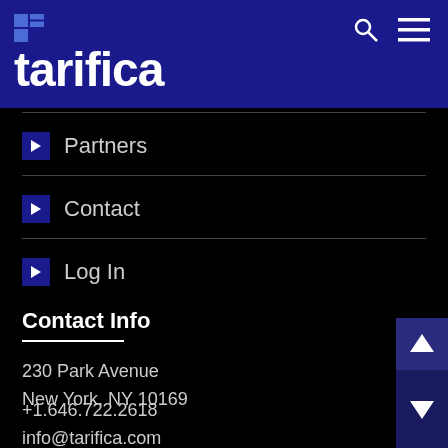tarifica
Partners
Contact
Log In
Contact Info
230 Park Avenue
New York, NY 10169
+1.646.722.2618
info@tarifica.com